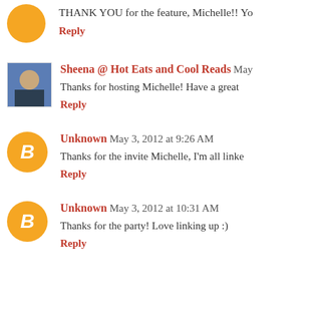THANK YOU for the feature, Michelle!! Yo
Reply
Sheena @ Hot Eats and Cool Reads May...
Thanks for hosting Michelle! Have a great
Reply
Unknown May 3, 2012 at 9:26 AM
Thanks for the invite Michelle, I'm all linke
Reply
Unknown May 3, 2012 at 10:31 AM
Thanks for the party! Love linking up :)
Reply